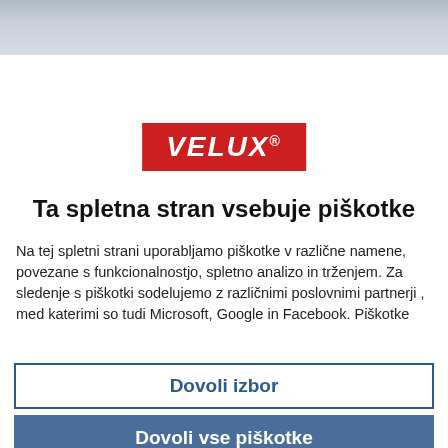[Figure (photo): Blurred background banner image at top of page]
[Figure (logo): VELUX logo in red background with white italic bold text]
Ta spletna stran vsebuje piškotke
Na tej spletni strani uporabljamo piškotke v različne namene, povezane s funkcionalnostjo, spletno analizo in trženjem. Za sledenje s piškotki sodelujemo z različnimi poslovnimi partnerji , med katerimi so tudi Microsoft, Google in Facebook. Piškotke
Dovoli izbor
Dovoli vse piškotke
Zahtevano   Nastavitve   Statistika   Trženje
Prikaži podrobnosti